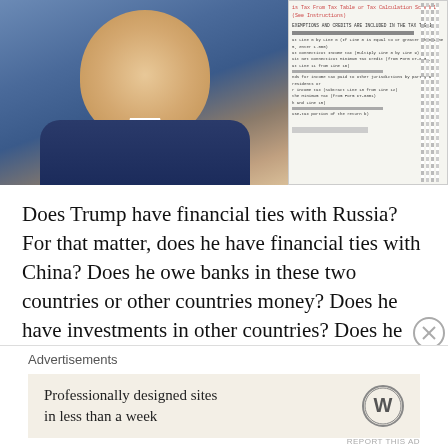[Figure (photo): Photo of a man (Trump) speaking, overlaid with tax document forms in the upper right corner]
Does Trump have financial ties with Russia? For that matter, does he have financial ties with China? Does he owe banks in these two countries or other countries money? Does he have investments in other countries? Does he have financial ties to Goldman Sachs? He certainly has hired enough of their past corporate executives? Does he have investments in any of the backers of the Dakota Access Pipeline? For that matter, does he have investment in his daughter's clothing line? Does he have any lucrative
Advertisements
[Figure (screenshot): Advertisement: Professionally designed sites in less than a week — WordPress logo]